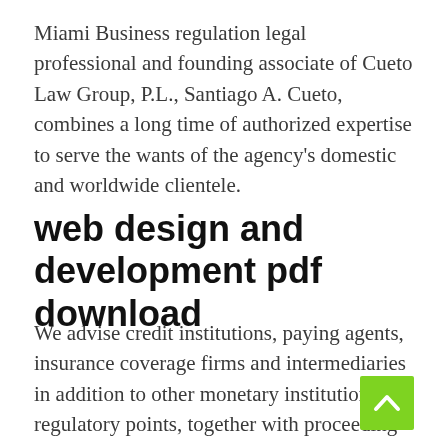Miami Business regulation legal professional and founding associate of Cueto Law Group, P.L., Santiago A. Cueto, combines a long time of authorized expertise to serve the wants of the agency's domestic and worldwide clientele.
web design and development pdf download
We advise credit institutions, paying agents, insurance coverage firms and intermediaries in addition to other monetary institutions and regulatory points, together with proceedings carried out by the Financial Supervision